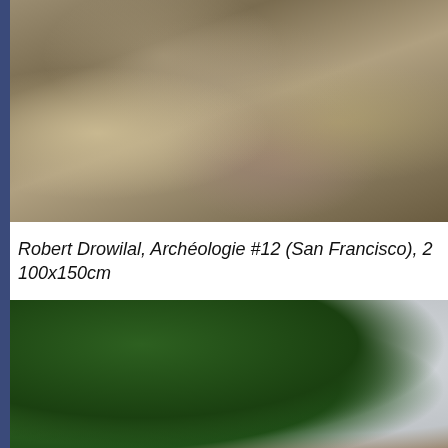[Figure (photo): Close-up photograph of rocky stone formations with weathered surfaces, mosses and vegetation in crevices — appears to be a cliff face or rock wall]
Robert Drowilal, Archéologie #12 (San Francisco), 2... 100x150cm
[Figure (photo): Outdoor photograph showing lush green leafy trees on the left side and bare/dead tree branches on the right against a pale grey sky]